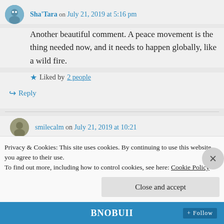Sha'Tara on July 21, 2019 at 5:16 pm
Another beautiful comment. A peace movement is the thing needed now, and it needs to happen globally, like a wild fire.
Liked by 2 people
Reply
smilecalm on July 21, 2019 at 10:21
Privacy & Cookies: This site uses cookies. By continuing to use this website, you agree to their use.
To find out more, including how to control cookies, see here: Cookie Policy
Close and accept